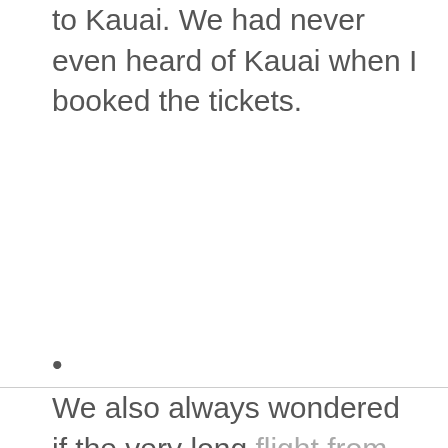to Kauai. We had never even heard of Kauai when I booked the tickets.
•
We also always wondered if the very long flight from Atlanta was worth it. The